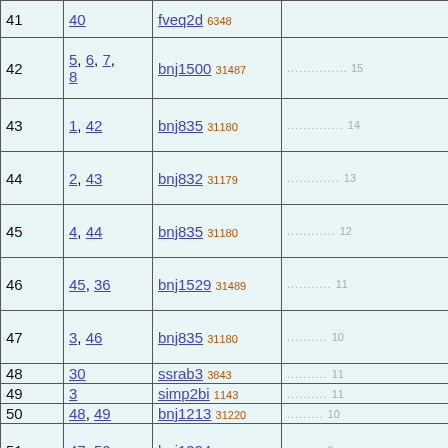| # | Refs | Name |  |
| --- | --- | --- | --- |
| 41 | 40 | fveq2d 6348 |  |
| 42 | 5, 6, 7, 8 | bnj1500 31487 | ............... 15 |
| 43 | 1, 42 | bnj835 31180 | .............. 14 |
| 44 | 2, 43 | bnj832 31179 | ............. 13 |
| 45 | 4, 44 | bnj835 31180 | ............ 12 |
| 46 | 45, 36 | bnj1529 31489 | ........... 11 |
| 47 | 3, 46 | bnj835 31180 | .......... 10 |
| 48 | 30 | ssrab3 3843 | .......... 11 |
| 49 | 3 | simp2bi 1143 | .......... 11 |
| 50 | 48, 49 | bnj1213 31220 | ......... 10 |
| 51 | 47, 50 | bnj1294 31239 | ......... 9 |
| 52 | 1 | simp3bi 1144 | .............. 14 |
| 53 | 2, 52 | bnj832 ... | ............. 13 |